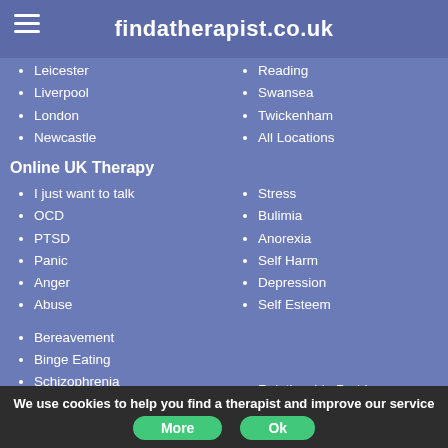findatherapist.co.uk
Leicester
Liverpool
London
Newcastle
Reading
Swansea
Twickenham
All Locations
Online UK Therapy
I just want to talk
OCD
PTSD
Panic
Anger
Abuse
Stress
Bulimia
Anorexia
Self Harm
Depression
Self Esteem
Bereavement
Binge Eating
Schizophrenia
Social Anxiety
Body Dysmorphia
Generalised Anxiety
Relationship Problems
Borderline Personality
Narcissistic Personality
We use cookies to help you find a therapist and improve our service